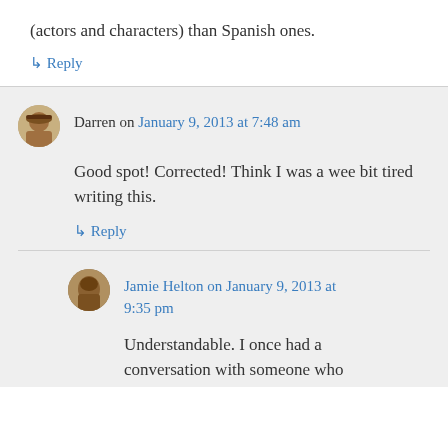(actors and characters) than Spanish ones.
↳ Reply
Darren on January 9, 2013 at 7:48 am
Good spot! Corrected! Think I was a wee bit tired writing this.
↳ Reply
Jamie Helton on January 9, 2013 at 9:35 pm
Understandable. I once had a conversation with someone who